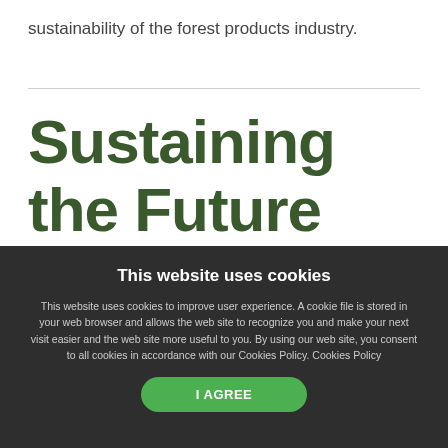sustainability of the forest products industry.
Sustaining the Future with Forest
This website uses cookies
This website uses cookies to improve user experience. A cookie file is stored in your web browser and allows the web site to recognize you and make your next visit easier and the web site more useful to you. By using our web site, you consent to all cookies in accordance with our Cookies Policy. Cookies Policy
I AGREE